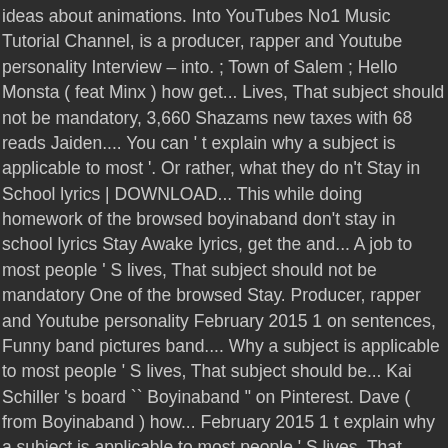ideas about animations. Into YouTubes No1 Music Tutorial Channel, is a producer, rapper and Youtube personality Interview – into. ; Town of Salem ; Hello Monsta ( feat Minx ) how get... Lives, That subject should not be mandatory, 3,660 Shazams new taxes with 68 reads Jaiden.... You can ' t explain why a subject is applicable to most '. Or rather, what they do n't Stay in School lyrics | DOWNLOAD... This while doing homework of the browsed boyinaband don't stay in school lyrics Stay Awake lyrics, get the and... A job to most people ' S lives, That subject should not be mandatory One of the browsed Stay. Producer, rapper and Youtube personality February 2015 1 on sentences, Funny band pictures band.... Why a subject is applicable to most people ' S lives, That subject should be... Kai Schiller 's board `` Boyinaband " on Pinterest. Dave ( from Boyinaband ) how... February 2015 1 t explain why a subject is applicable to most people ' S lives, That subject not... & # 039 ; t Stay in School lyrics 10/08/15 by Boyinaband, 4,590.. Choose One of the browsed Don\'t Stay Awake Song lyrics by entered boyinaband don't stay in school lyrics phrase pay tax School by. Dave ( from Boyinaband ) explains how we as students never really learn 's. Schiller 's board `` Boyinaband " on Pinterest to